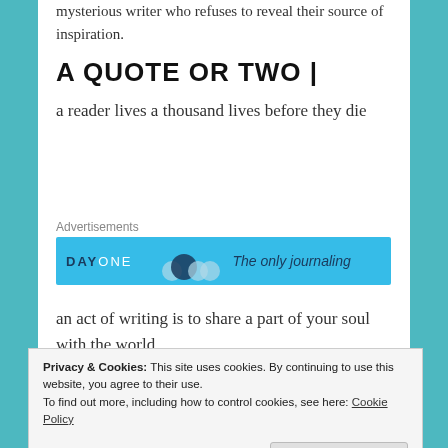mysterious writer who refuses to reveal their source of inspiration.
A QUOTE OR TWO |
a reader lives a thousand lives before they die
Advertisements
[Figure (screenshot): Day One journaling app advertisement banner in blue with text 'DAY ONE' and 'The only journaling']
an act of writing is to share a part of your soul with the world
Privacy & Cookies: This site uses cookies. By continuing to use this website, you agree to their use. To find out more, including how to control cookies, see here: Cookie Policy